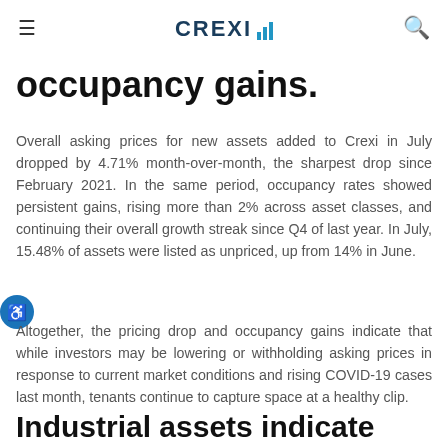CREXI [logo]
occupancy gains.
Overall asking prices for new assets added to Crexi in July dropped by 4.71% month-over-month, the sharpest drop since February 2021. In the same period, occupancy rates showed persistent gains, rising more than 2% across asset classes, and continuing their overall growth streak since Q4 of last year. In July, 15.48% of assets were listed as unpriced, up from 14% in June.
Altogether, the pricing drop and occupancy gains indicate that while investors may be lowering or withholding asking prices in response to current market conditions and rising COVID-19 cases last month, tenants continue to capture space at a healthy clip.
Industrial assets indicate slight correction after a record-setting